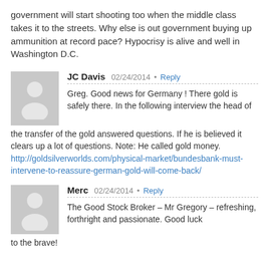government will start shooting too when the middle class takes it to the streets. Why else is out government buying up ammunition at record pace? Hypocrisy is alive and well in Washington D.C.
JC Davis  02/24/2014 • Reply
Greg. Good news for Germany ! There gold is safely there. In the following interview the head of the transfer of the gold answered questions. If he is believed it clears up a lot of questions. Note: He called gold money.
http://goldsilverworlds.com/physical-market/bundesbank-must-intervene-to-reassure-german-gold-will-come-back/
Merc  02/24/2014 • Reply
The Good Stock Broker – Mr Gregory – refreshing, forthright and passionate. Good luck to the brave!